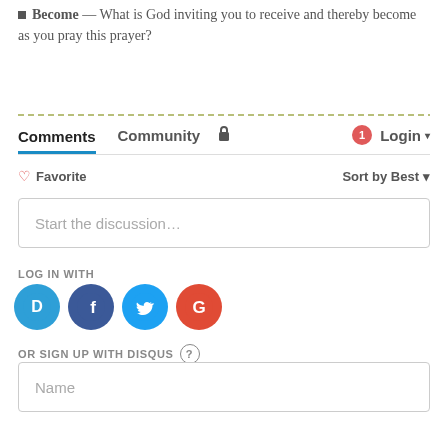Become — What is God inviting you to receive and thereby become as you pray this prayer?
Comments  Community  🔒  1  Login ▾
♡ Favorite   Sort by Best ▾
Start the discussion…
LOG IN WITH
[Figure (logo): Social login icons: Disqus (blue circle with D), Facebook (dark blue circle with f), Twitter (light blue circle with bird), Google (red circle with G)]
OR SIGN UP WITH DISQUS ?
Name